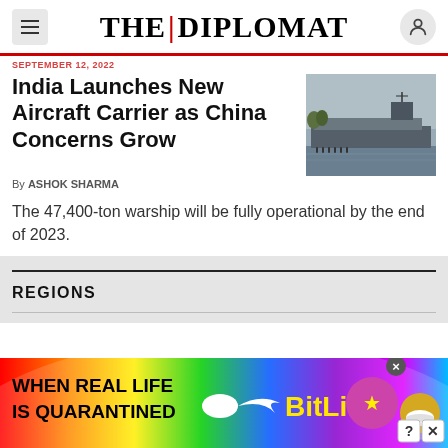THE DIPLOMAT
India Launches New Aircraft Carrier as China Concerns Grow
By ASHOK SHARMA
The 47,400-ton warship will be fully operational by the end of 2023.
[Figure (photo): Photograph of an aircraft carrier ship docked at port, grayscale/muted tones, with people visible on the dock.]
REGIONS
[Figure (illustration): BitLife advertisement banner with rainbow gradient background, text reading WHEN REAL LIFE IS QUARANTINED, sperm icon, BitLife logo in yellow, emoji icons of a star-face character and a mask.]